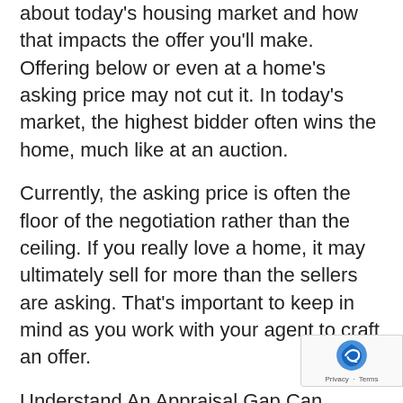about today's housing market and how that impacts the offer you'll make. Offering below or even at a home's asking price may not cut it. In today's market, the highest bidder often wins the home, much like at an auction.
Currently, the asking price is often the floor of the negotiation rather than the ceiling. If you really love a home, it may ultimately sell for more than the sellers are asking. That's important to keep in mind as you work with your agent to craft an offer.
Understand An Appraisal Gap Can Happen Because of today's home price appreciation and the auction-like atmosphere in the selling process, appraisal gaps – the gap between the price of your contract and the appraisal for the